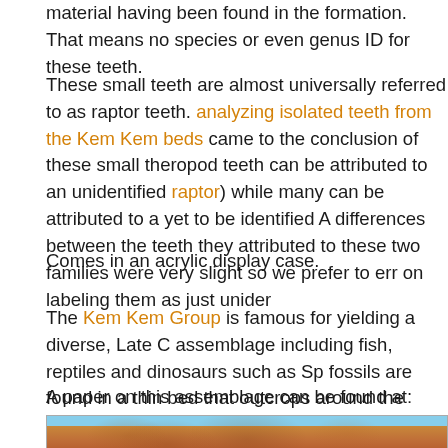material having been found in the formation. That means no species or even genus ID for these teeth.
These small teeth are almost universally referred to as raptor teeth. analyzing isolated teeth from the Kem Kem beds came to the conclusion of these small theropod teeth can be attributed to an unidentified raptor) while many can be attributed to a yet to be identified Abelisaurid. differences between the teeth they attributed to these two families were very slight so we prefer to err on labeling them as just unidentified.
Comes in an acrylic display case.
The Kem Kem Group is famous for yielding a diverse, Late Cretaceous assemblage including fish, reptiles and dinosaurs such as Spinosaurus. fossils are found in a thin bed that outcrops around the edge of a plateau near Taouz, Morocco. Local miners collect these fossils by digging tunnels by hand into this plateau following the layer.
A paper on this assemblage can be found at: Vertebrate assemblage of the early Late Cretaceous of southeastern Morocco: An overview
[Figure (photo): Photograph of rocky desert terrain with orange-brown layered rock formations under a blue sky, typical of the Moroccan Kem Kem region.]